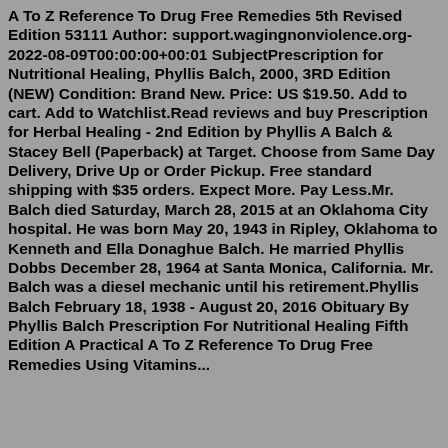A To Z Reference To Drug Free Remedies 5th Revised Edition 53111 Author: support.wagingnonviolence.org-2022-08-09T00:00:00+00:01 SubjectPrescription for Nutritional Healing, Phyllis Balch, 2000, 3RD Edition (NEW) Condition: Brand New. Price: US $19.50. Add to cart. Add to Watchlist.Read reviews and buy Prescription for Herbal Healing - 2nd Edition by Phyllis A Balch & Stacey Bell (Paperback) at Target. Choose from Same Day Delivery, Drive Up or Order Pickup. Free standard shipping with $35 orders. Expect More. Pay Less.Mr. Balch died Saturday, March 28, 2015 at an Oklahoma City hospital. He was born May 20, 1943 in Ripley, Oklahoma to Kenneth and Ella Donaghue Balch. He married Phyllis Dobbs December 28, 1964 at Santa Monica, California. Mr. Balch was a diesel mechanic until his retirement.Phyllis Balch February 18, 1938 - August 20, 2016 Obituary By Phyllis Balch Prescription For Nutritional Healing Fifth Edition A Practical A To Z Reference To Drug Free Remedies Using Vitamins...